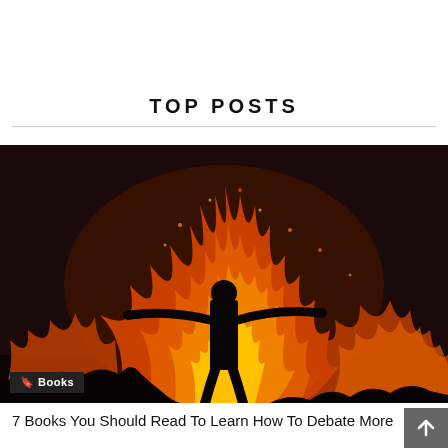TOP POSTS
[Figure (photo): Silhouette of a person standing with arms outstretched in front of a large fire at night, dramatic backlighting with orange and yellow flames surrounding the figure against a dark background.]
🔖 Books
7 Books You Should Read To Learn How To Debate More Constructively